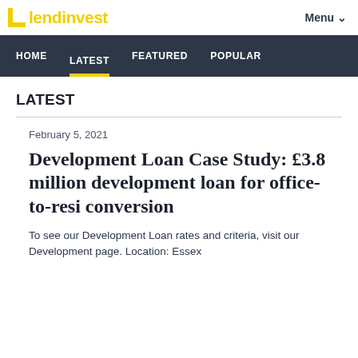LendInvest | Menu
HOME    LATEST    FEATURED    POPULAR
LATEST
February 5, 2021
Development Loan Case Study: £3.8 million development loan for office-to-resi conversion
To see our Development Loan rates and criteria, visit our Development page. Location: Essex